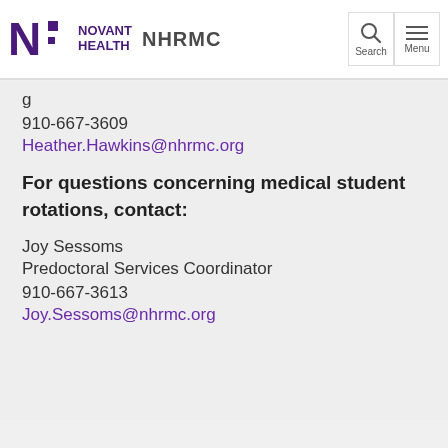Novant Health NHRMC
910-667-3609
Heather.Hawkins@nhrmc.org
For questions concerning medical student rotations, contact:
Joy Sessoms
Predoctoral Services Coordinator
910-667-3613
Joy.Sessoms@nhrmc.org